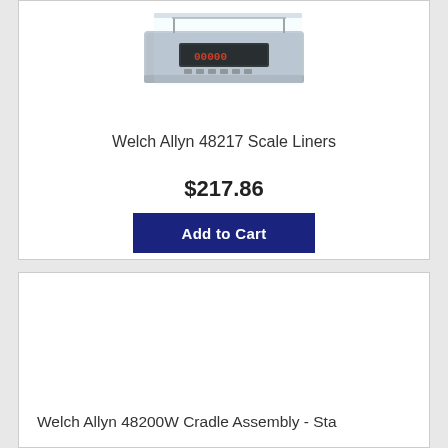[Figure (photo): Welch Allyn medical scale with glass tray and metal body, shown from above at an angle]
Welch Allyn 48217 Scale Liners
$217.86
Add to Cart
Welch Allyn 48200W Cradle Assembly - Sta